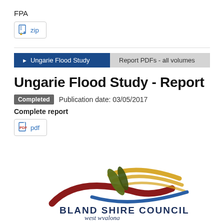FPA
zip
Ungarie Flood Study | Report PDFs - all volumes
Ungarie Flood Study - Report
Completed   Publication date: 03/05/2017
Complete report
pdf
[Figure (logo): Bland Shire Council - west wyalong logo with stylized leaf and wave design]